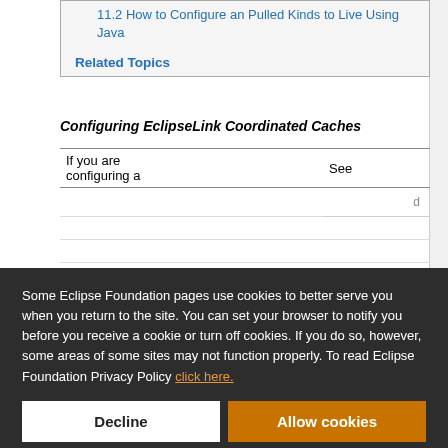11.2 How to Configure an Pulled Kinds to Live Using Java
Related Topics
Configuring EclipseLink Coordinated Caches
| If you are configuring a | See |
| --- | --- |
Some Eclipse Foundation pages use cookies to better serve you when you return to the site. You can set your browser to notify you before you receive a cookie or turn off cookies. If you do so, however, some areas of some sites may not function properly. To read Eclipse Foundation Privacy Policy click here.
Decline
Allow cookies
Configuring Common